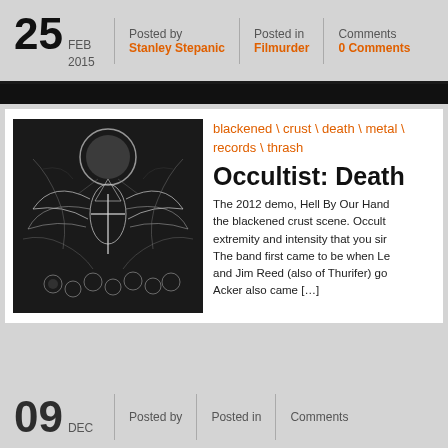25 FEB 2015 | Posted by Stanley Stepanic | Posted in Filmurder | Comments 0 Comments
[Figure (illustration): Black and white intricate metal album cover artwork with demonic figures, skulls, and occult imagery]
blackened \ crust \ death \ metal \ records \ thrash
Occultist: Death
The 2012 demo, Hell By Our Hand, the blackened crust scene. Occultist extremity and intensity that you sin The band first came to be when Le and Jim Reed (also of Thurifer) go Acker also came [...]
09 DEC | Posted by | Posted in | Comments